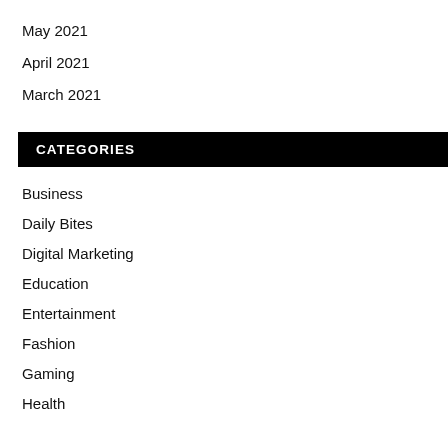May 2021
April 2021
March 2021
CATEGORIES
Business
Daily Bites
Digital Marketing
Education
Entertainment
Fashion
Gaming
Health